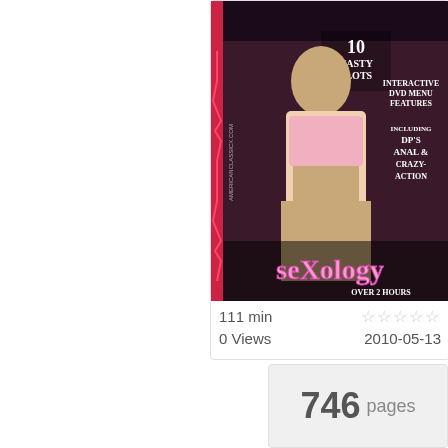[Figure (photo): DVD cover image for 'Sexology' adult video - shows a woman in pink outfit with text '10 Nasty Slots', 'Interactive DVD Menu Features', 'Including DP's Anal & Crazy-Action', 'Sexology', 'Over 2 Hours']
111 min
☆☆☆☆☆
0 Views
2010-05-13
746 pages